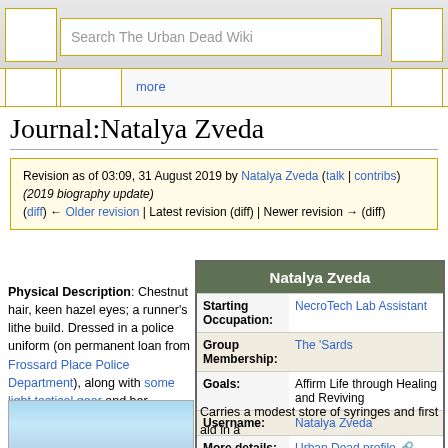Search The Urban Dead Wiki
Journal:Natalya Zveda
Revision as of 03:09, 31 August 2019 by Natalya Zveda (talk | contribs) (2019 biography update)
(diff) ← Older revision | Latest revision (diff) | Newer revision → (diff)
| Natalya Zveda |  |
| --- | --- |
| Starting Occupation: | NecroTech Lab Assistant |
| Group Membership: | The 'Sards |
| Goals: | Affirm Life through Healing and Reviving |
| Username: | Natalya Zveda |
| More details: | Urban Dead profile |
Physical Description: Chestnut hair, keen hazel eyes; a runner's lithe build. Dressed in a police uniform (on permanent loan from Frossard Place Police Department), along with some light tactical gear and her signature red scarf.
[Figure (illustration): Illustration of Natalya Zveda character, blue sky background]
Carries a modest store of syringes and first aid in a